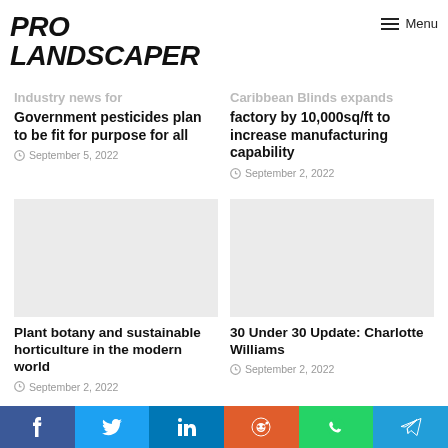PRO LANDSCAPER
Menu
Government pesticides plan to be fit for purpose for all
September 5, 2022
Caribbean Blinds expands factory by 10,000sq/ft to increase manufacturing capability
September 2, 2022
[Figure (photo): Placeholder image for Plant botany article]
Plant botany and sustainable horticulture in the modern world
September 2, 2022
[Figure (photo): Placeholder image for 30 Under 30 Update article]
30 Under 30 Update: Charlotte Williams
September 2, 2022
f  t  in  reddit  whatsapp  telegram